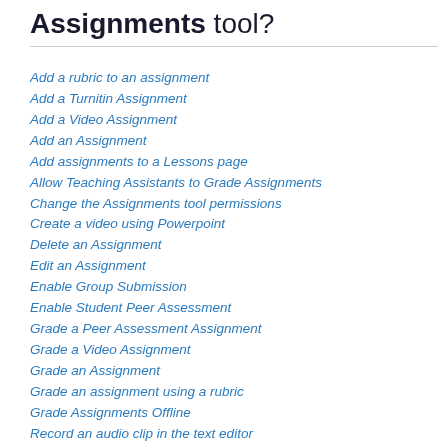Assignments tool?
Add a rubric to an assignment
Add a Turnitin Assignment
Add a Video Assignment
Add an Assignment
Add assignments to a Lessons page
Allow Teaching Assistants to Grade Assignments
Change the Assignments tool permissions
Create a video using Powerpoint
Delete an Assignment
Edit an Assignment
Enable Group Submission
Enable Student Peer Assessment
Grade a Peer Assessment Assignment
Grade a Video Assignment
Grade an Assignment
Grade an assignment using a rubric
Grade Assignments Offline
Record an audio clip in the text editor
Release Assignment Grades